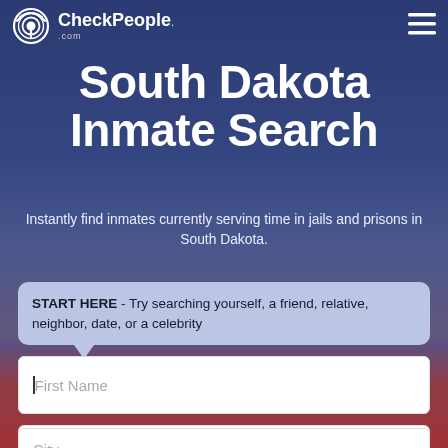[Figure (screenshot): CheckPeople.com logo with circular WiFi-like icon on the left and hamburger menu icon on the right, on a dark blue semi-transparent header bar over a prison corridor background image]
South Dakota Inmate Search
Instantly find inmates currently serving time in jails and prisons in South Dakota.
START HERE - Try searching yourself, a friend, relative, neighbor, date, or a celebrity
First Name
Last Name
City